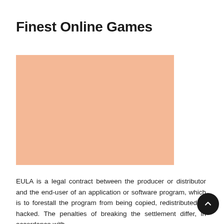Finest Online Games
[Figure (illustration): A plain salmon/peach colored rectangular placeholder image block]
EULA is a legal contract between the producer or distributor and the end-user of an application or software program, which is to forestall the program from being copied, redistributed or hacked. The penalties of breaking the settlement differ, in accordance with